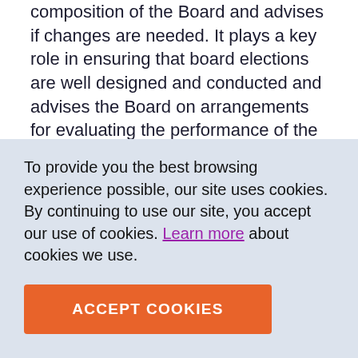composition of the Board and advises if changes are needed. It plays a key role in ensuring that board elections are well designed and conducted and advises the Board on arrangements for evaluating the performance of the Board, its members and its committees.
CEO Performance and Remuneration Committee
To provide you the best browsing experience possible, our site uses cookies. By continuing to use our site, you accept our use of cookies. Learn more about cookies we use.
ACCEPT COOKIES